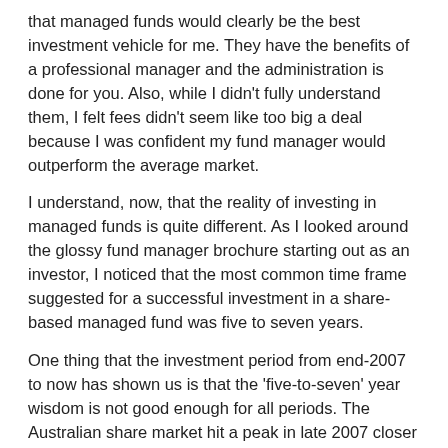that managed funds would clearly be the best investment vehicle for me. They have the benefits of a professional manager and the administration is done for you. Also, while I didn't fully understand them, I felt fees didn't seem like too big a deal because I was confident my fund manager would outperform the average market.
I understand, now, that the reality of investing in managed funds is quite different. As I looked around the glossy fund manager brochure starting out as an investor, I noticed that the most common time frame suggested for a successful investment in a share-based managed fund was five to seven years.
One thing that the investment period from end-2007 to now has shown us is that the 'five-to-seven' year wisdom is not good enough for all periods. The Australian share market hit a peak in late 2007 closer to 7000 points than 6000 (the All Ords was 6779 in October of 2007).